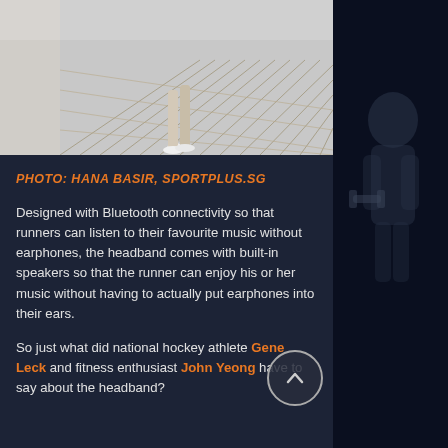[Figure (photo): Top photo of runner legs on wooden deck/boardwalk, gray and brown tones]
PHOTO: HANA BASIR, SPORTPLUS.SG
Designed with Bluetooth connectivity so that runners can listen to their favourite music without earphones, the headband comes with built-in speakers so that the runner can enjoy his or her music without having to actually put earphones into their ears.
So just what did national hockey athlete Gene Leck and fitness enthusiast John Yeong have to say about the headband?
[Figure (photo): Bottom photo of a woman wearing a headband, running, dressed in black, wind blowing hair]